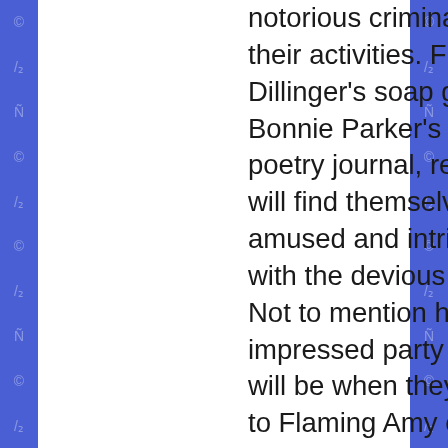notorious criminals and their activities. From John Dillinger's soap gun to Bonnie Parker's gunshot poetry journal, readers will find themselves both amused and intrigued with the devious creativity. Not to mention how impressed party guests will be when they show up to Flaming Amy cocktails and cocktail bars stashed in violin cases. And just